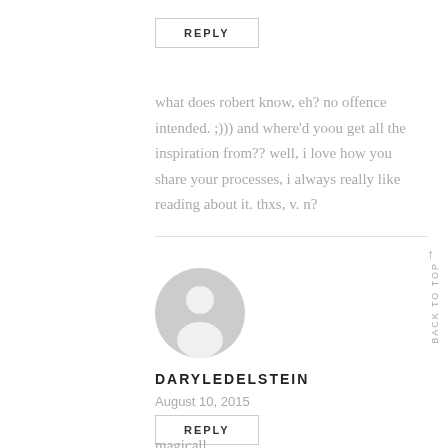REPLY
what does robert know, eh? no offence intended. ;))) and where'd yoou get all the inspiration from?? well, i love how you share your processes, i always really like reading about it. thxs, v. n?
[Figure (illustration): Gray default user avatar circle with person silhouette]
DARYLEDELSTEIN
August 10, 2015
REPLY
magicall